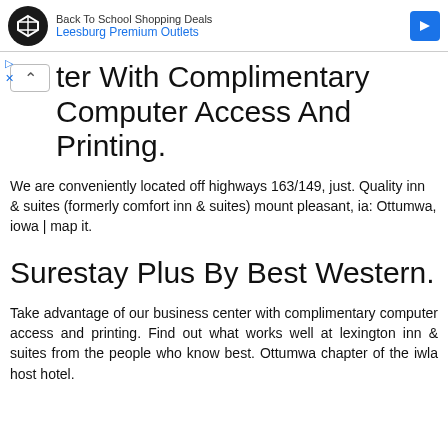[Figure (screenshot): Ad banner for Leesburg Premium Outlets Back To School Shopping Deals, with a circular black logo, blue text link, and a blue directional arrow icon on the right.]
ter With Complimentary Computer Access And Printing.
We are conveniently located off highways 163/149, just. Quality inn & suites (formerly comfort inn & suites) mount pleasant, ia: Ottumwa, iowa | map it.
Surestay Plus By Best Western.
Take advantage of our business center with complimentary computer access and printing. Find out what works well at lexington inn & suites from the people who know best. Ottumwa chapter of the iwla host hotel.